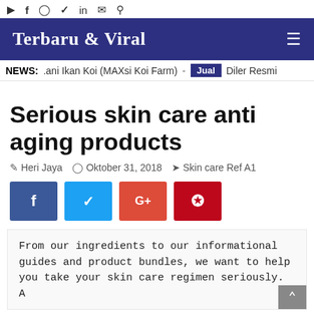YouTube Facebook Instagram Twitter LinkedIn Email Search
Terbaru & Viral
NEWS: .ani Ikan Koi (MAXsi Koi Farm) - Jual Diler Resmi
Serious skin care anti aging products
Heri Jaya   Oktober 31, 2018   Skin care Ref A1
[Figure (infographic): Social share buttons: Facebook (blue), Twitter (cyan), Google+ (orange-red), Pinterest (red)]
From our ingredients to our informational guides and product bundles, we want to help you take your skin care regimen seriously. A